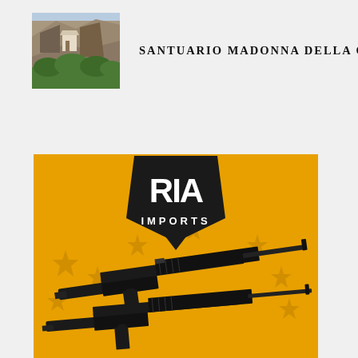[Figure (photo): Thumbnail photo of Santuario Madonna della Corona, a sanctuary built into cliffs with green trees below]
SANTUARIO MADONNA DELLA CORONA
[Figure (photo): RIA Imports advertisement on golden/yellow background with dark pentagon logo showing 'RIA IMPORTS' text and decorative stars, featuring two black AR-style rifles displayed diagonally]